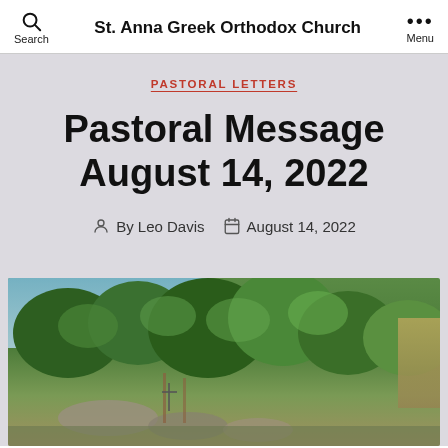St. Anna Greek Orthodox Church
PASTORAL LETTERS
Pastoral Message August 14, 2022
By Leo Davis   August 14, 2022
[Figure (photo): Outdoor landscape photo showing trees, rocky terrain, and a partially cloudy sky. Appears to be a garden or natural area next to a building.]